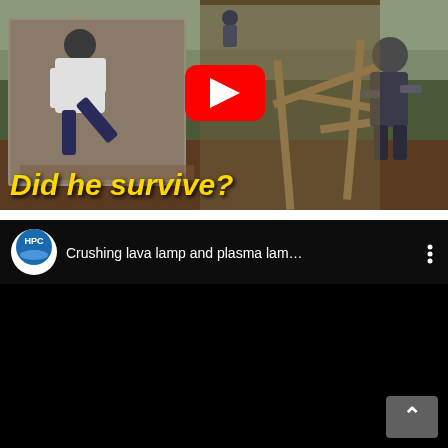[Figure (screenshot): YouTube video thumbnail showing two scenes: a person in a white hoodie performing a kick on the left, and a man working with a wooden structure on the right. Yellow bold italic text overlay reads 'Did he survive?' with a YouTube play button in the center.]
[Figure (screenshot): YouTube video player showing a black screen with a video header. Channel icon shows 'HPC' logo. Title reads 'Crushing lava lamp and plasma lam...' with a three-dot menu icon. A scroll-up button is visible at bottom right.]